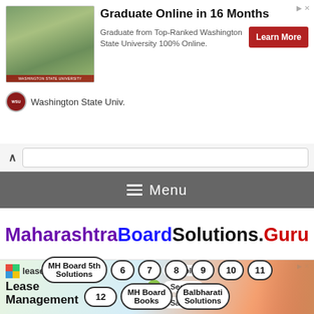[Figure (infographic): Washington State University advertisement banner: aerial campus photo on left, headline 'Graduate Online in 16 Months', subtext 'Graduate from Top-Ranked Washington State University 100% Online.', red Learn More button, WSU logo and name below.]
[Figure (screenshot): Browser navigation chevron/back button and address bar UI element.]
Menu
MaharashtraBoardSolutions.Guru
[Figure (infographic): Leasecake advertisement: leasecake logo, text 'Lease Management', three green pills labeled Simple, Secure, Satisfying, person photo on right.]
MH Board 5th Solutions
6
7
8
9
10
11
12
MH Board Books
Balbharati Solutions